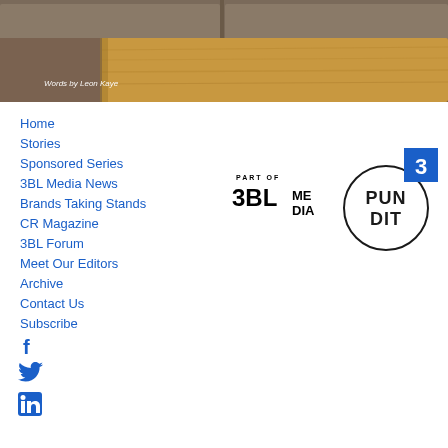[Figure (photo): Photo of a wooden coffee table with gray upholstered sofa/booth seating in the background. Text overlay reads 'Words by Leon Kaye'.]
Home
Stories
Sponsored Series
3BL Media News
Brands Taking Stands
CR Magazine
3BL Forum
Meet Our Editors
Archive
Contact Us
Subscribe
[Figure (logo): 3BL Media logo with 'PART OF' text above it]
[Figure (logo): Pundit 3 logo — circle with 'PUN DIT' text and blue square with '3' in top right]